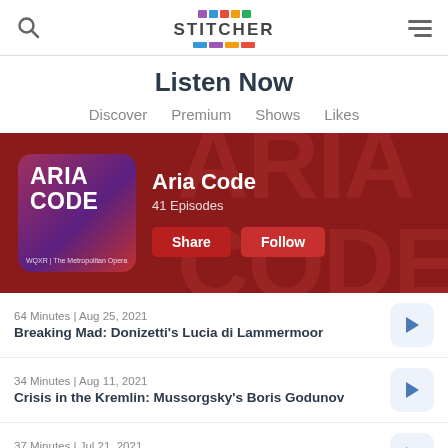Stitcher — Listen Now
Listen Now
Discover
Premium
Shows
Likes
[Figure (screenshot): Aria Code podcast banner with album art showing ARIA CODE text and WQXR logo on dark red background. Buttons: Share, Follow. 41 Episodes.]
64 Minutes | Aug 25, 2021
Breaking Mad: Donizetti's Lucia di Lammermoor
34 Minutes | Aug 11, 2021
Crisis in the Kremlin: Mussorgsky's Boris Godunov
37 Minutes | Jul 21, 2021
Only the Good Die Young: Verdi's La Traviata
40 Minutes | Jul 7, 2021